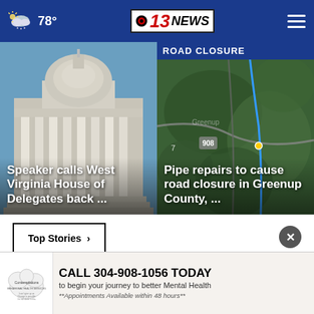78° — WVNS CBS 13 News
[Figure (screenshot): Photo of West Virginia State Capitol building with columns]
Speaker calls West Virginia House of Delegates back ...
[Figure (map): Road closure map of Greenup County area with satellite imagery]
ROAD CLOSURE
Pipe repairs to cause road closure in Greenup County, ...
Top Stories ›
[Figure (advertisement): Contemplations Mental Health ad: CALL 304-908-1056 TODAY to begin your journey to better Mental Health **Appointments Available within 48 hours**]